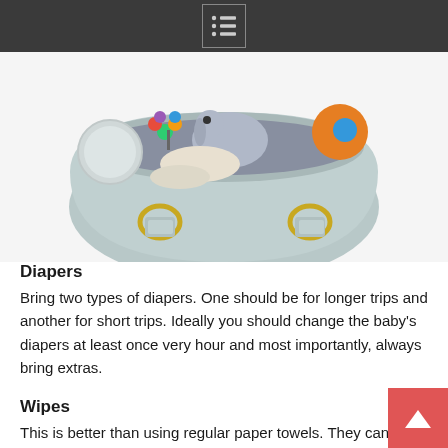[menu icon]
[Figure (photo): Overhead view of an open light blue/grey diaper bag filled with baby toys, a stuffed elephant, colorful rattles, and other baby items. The bag has gold hardware rings on the straps.]
Diapers
Bring two types of diapers. One should be for longer trips and another for short trips. Ideally you should change the baby's diapers at least once very hour and most importantly, always bring extras.
Wipes
This is better than using regular paper towels. They can also double as hand wipes if you can't wash your hands with soap and water. Wipes are great for all-around